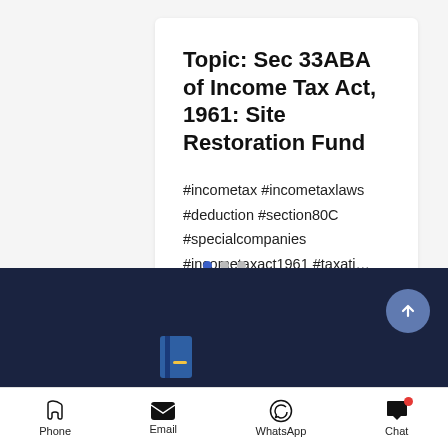Topic: Sec 33ABA of Income Tax Act, 1961: Site Restoration Fund
#incometax #incometaxlaws #deduction #section80C #specialcompanies #incometaxact1961 #taxati…
9 views | 1 comment
[Figure (screenshot): Dark navy banner section at bottom of mobile app card]
Phone | Email | WhatsApp | Chat